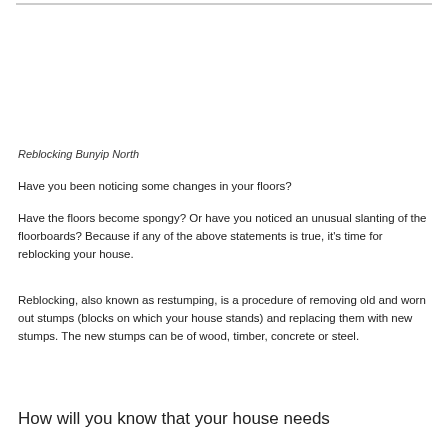Reblocking Bunyip North
Have you been noticing some changes in your floors?
Have the floors become spongy? Or have you noticed an unusual slanting of the floorboards? Because if any of the above statements is true, it's time for reblocking your house.
Reblocking, also known as restumping, is a procedure of removing old and worn out stumps (blocks on which your house stands) and replacing them with new stumps. The new stumps can be of wood, timber, concrete or steel.
How will you know that your house needs